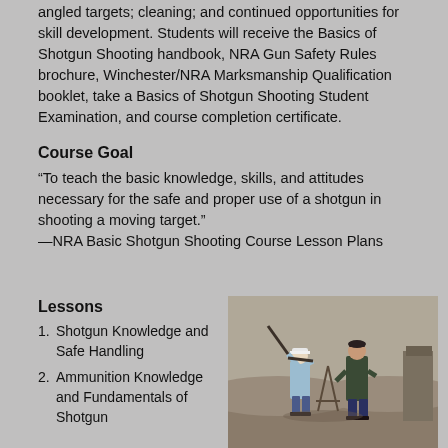angled targets; cleaning; and continued opportunities for skill development. Students will receive the Basics of Shotgun Shooting handbook, NRA Gun Safety Rules brochure, Winchester/NRA Marksmanship Qualification booklet, take a Basics of Shotgun Shooting Student Examination, and course completion certificate.
Course Goal
“To teach the basic knowledge, skills, and attitudes necessary for the safe and proper use of a shotgun in shooting a moving target.”
—NRA Basic Shotgun Shooting Course Lesson Plans
Lessons
Shotgun Knowledge and Safe Handling
Ammunition Knowledge and Fundamentals of Shotgun
[Figure (photo): Two people at an outdoor shooting range. One person (wearing a white hat and light blue jacket) is aiming a shotgun upward while an instructor in a dark jacket stands beside them. A rifle rest/stand is visible in the background along with arid landscape.]